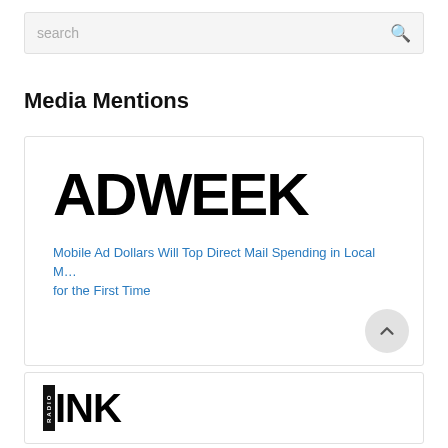search
Media Mentions
[Figure (logo): ADWEEK logo in large bold black text]
Mobile Ad Dollars Will Top Direct Mail Spending in Local M… for the First Time
[Figure (logo): Radio Ink logo with RADIO in vertical box and INK in bold black]